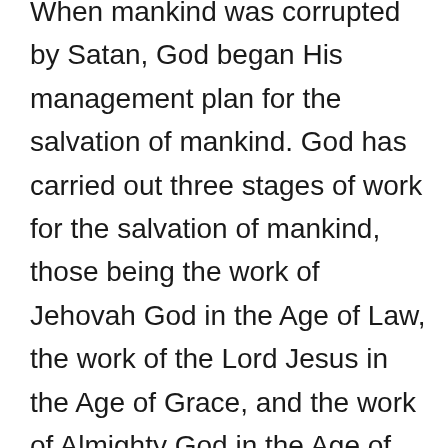When mankind was corrupted by Satan, God began His management plan for the salvation of mankind. God has carried out three stages of work for the salvation of mankind, those being the work of Jehovah God in the Age of Law, the work of the Lord Jesus in the Age of Grace, and the work of Almighty God in the Age of Kingdom. During the Age of Law, Jehovah God issued the laws and guided the life of mankind, making people know that they should worship God, and making them know what sin is. But with the arrival of the final stages of the Age of Law, mankind's corruption became ever more profound, and people often violated the laws and sinned against Jehovah God. They faced the